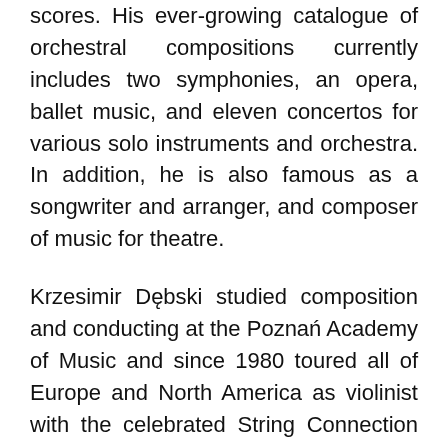scores. His ever-growing catalogue of orchestral compositions currently includes two symphonies, an opera, ballet music, and eleven concertos for various solo instruments and orchestra. In addition, he is also famous as a songwriter and arranger, and composer of music for theatre.
Krzesimir Dębski studied composition and conducting at the Poznań Academy of Music and since 1980 toured all of Europe and North America as violinist with the celebrated String Connection ensemble. Winner of the First Prize in the International Jazz Competition in Belgium, Dębski was also honored by the Jazz Forum Magazine with the Best Violinist and Best Arranger Prizes. Listed in 1985 as one of the ten best jazz violinists by Down Beat Magazine, Dębski has since curtailed his concert performance activities and concentrated